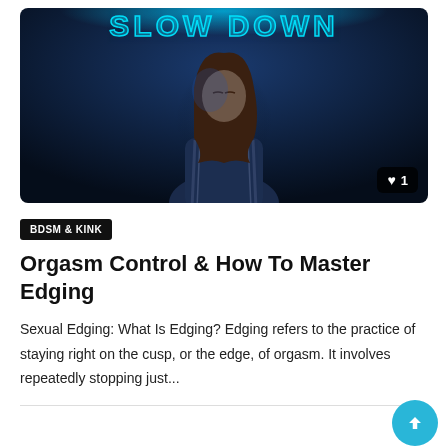[Figure (photo): Woman standing in front of a blue neon sign reading SLOW DOWN, dark blue moody lighting, woman with long brown hair wearing a track jacket]
BDSM & KINK
Orgasm Control & How To Master Edging
Sexual Edging: What Is Edging? Edging refers to the practice of staying right on the cusp, or the edge, of orgasm. It involves repeatedly stopping just...